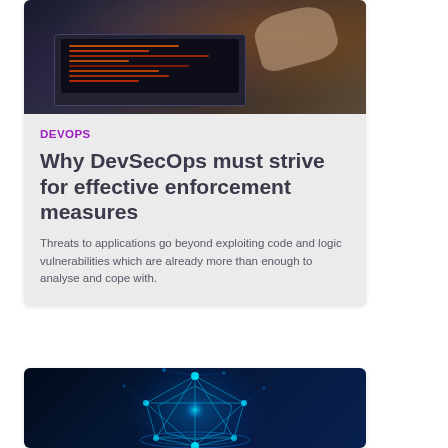[Figure (photo): Photograph of hands typing on a laptop with orange/red data visualizations on screen, dark background]
DEVOPS
Why DevSecOps must strive for effective enforcement measures
Threats to applications go beyond exploiting code and logic vulnerabilities which are already more than enough to analyse and cope with.
[Figure (photo): Dark background with glowing blue geometric/wireframe cyber brain or network node shape, futuristic digital concept art]